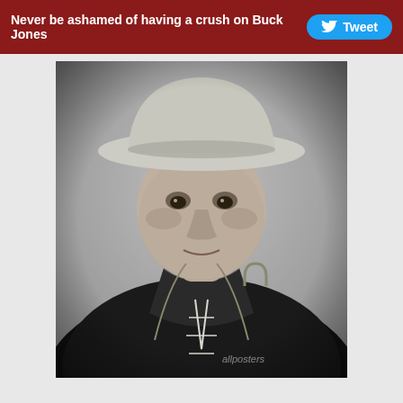Never be ashamed of having a crush on Buck Jones
[Figure (photo): Black and white portrait photograph of Buck Jones, a cowboy actor wearing a wide-brimmed white cowboy hat, dark western shirt with decorative lacing and a horseshoe charm, looking directly at camera with a slight lean forward. Watermark visible in lower right corner.]